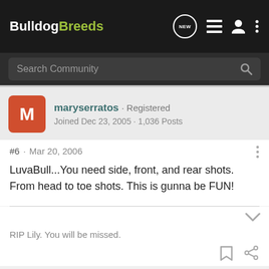BulldogBreeds
Search Community
maryserratos · Registered
Joined Dec 23, 2005 · 1,036 Posts
#6 · Mar 20, 2006
LuvaBull...You need side, front, and rear shots. From head to toe shots. This is gunna be FUN!
RIP Lily. You will be missed.